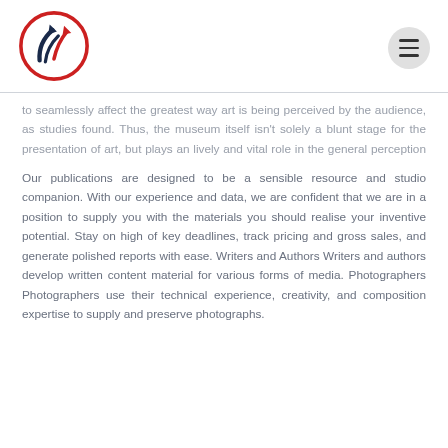[Figure (logo): Circular logo with red and dark blue upward arrows inside a red circular border]
to seamlessly affect the greatest way art is being perceived by the audience, as studies found. Thus, the museum itself isn't solely a blunt stage for the presentation of art, but plays an lively and vital role in the general perception of art in fashionable society.
Our publications are designed to be a sensible resource and studio companion. With our experience and data, we are confident that we are in a position to supply you with the materials you should realise your inventive potential. Stay on high of key deadlines, track pricing and gross sales, and generate polished reports with ease. Writers and Authors Writers and authors develop written content material for various forms of media. Photographers Photographers use their technical experience, creativity, and composition expertise to supply and preserve photographs.